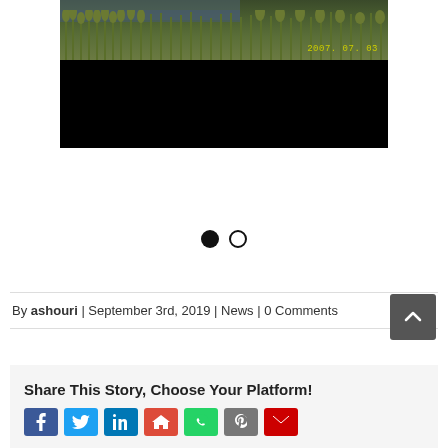[Figure (photo): Photograph of reeds/tall grass at water's edge with date stamp 2007.07.03 in yellow, lower portion black]
[Figure (infographic): Carousel navigation dots: one filled black circle and one empty circle]
By ashouri | September 3rd, 2019 | News | 0 Comments
Share This Story, Choose Your Platform!